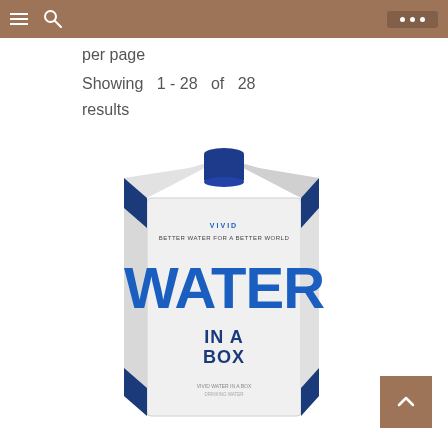Navigation bar with menu, search, and options icons
per page
Showing 1 - 28 of 28 results
[Figure (photo): Water in a Box product — a white rectangular carton with blue cap and blue branding text reading 'VIVID Water in a Box / Better Water for a Better World', shown against white background]
[Figure (other): Brown back-to-top button with upward-pointing chevron arrow]